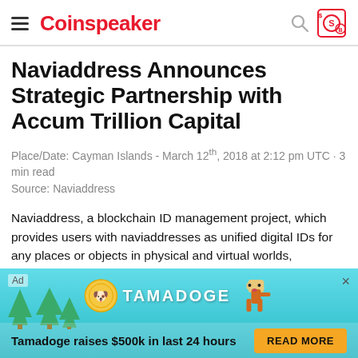Coinspeaker
Naviaddress Announces Strategic Partnership with Accum Trillion Capital
Place/Date: Cayman Islands - March 12th, 2018 at 2:12 pm UTC · 3 min read
Source: Naviaddress
Naviaddress, a blockchain ID management project, which provides users with naviaddresses as unified digital IDs for any places or objects in physical and virtual worlds, announced strategic partnership with ACCUM TRILLION CAPITAL, a management and
[Figure (advertisement): Tamadoge advertisement banner with teal background, coin logo, dog mascot, text 'Tamadoge raises $500k in last 24 hours' and READ MORE button]